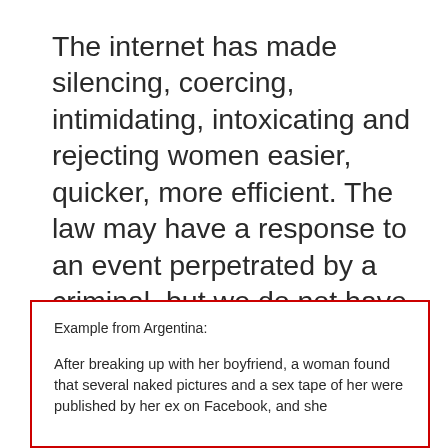The internet has made silencing, coercing, intimidating, intoxicating and rejecting women easier, quicker, more efficient. The law may have a response to an event perpetrated by a criminal, but we do not have a legal response to structural inequality and the gendered power dynamic.
Example from Argentina:

After breaking up with her boyfriend, a woman found that several naked pictures and a sex tape of her were published...